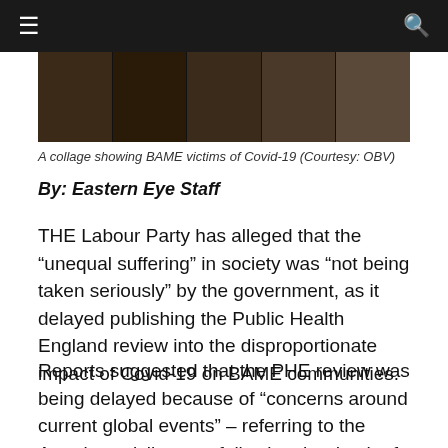≡  [menu] [search]
[Figure (photo): A collage of headshot photos of BAME victims of Covid-19, shown in a dark strip across the top of the article.]
A collage showing BAME victims of Covid-19 (Courtesy: OBV)
By: Eastern Eye Staff
THE Labour Party has alleged that the “unequal suffering” in society was “not being taken seriously” by the government, as it delayed publishing the Public Health England review into the disproportionate impact of Covid-19 on BAME communities.
Reports suggested that the PHE review was being delayed because of “concerns around current global events” – referring to the American civil unrest following the death of George Floyd due to police brutality in